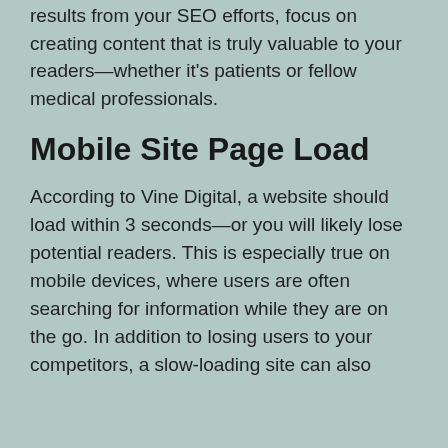results from your SEO efforts, focus on creating content that is truly valuable to your readers—whether it's patients or fellow medical professionals.
Mobile Site Page Load
According to Vine Digital, a website should load within 3 seconds—or you will likely lose potential readers. This is especially true on mobile devices, where users are often searching for information while they are on the go. In addition to losing users to your competitors, a slow-loading site can also